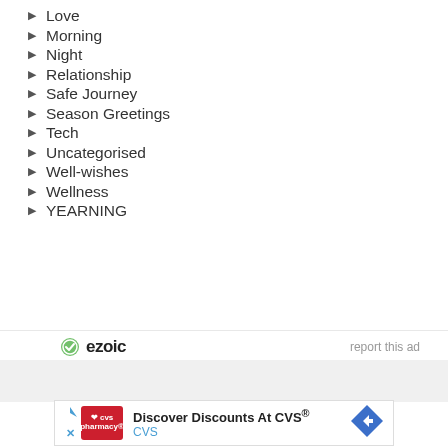Love
Morning
Night
Relationship
Safe Journey
Season Greetings
Tech
Uncategorised
Well-wishes
Wellness
YEARNING
[Figure (other): Ezoic advertisement logo with 'report this ad' link and CVS Pharmacy advertisement banner]
Discover Discounts At CVS® CVS